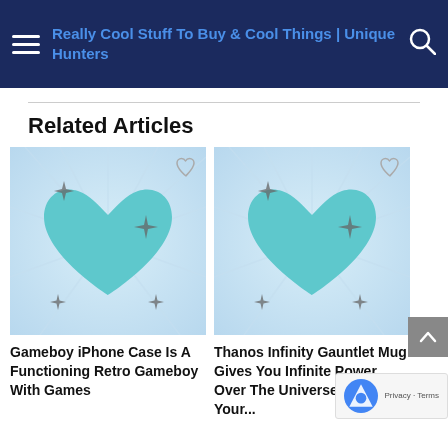Really Cool Stuff To Buy & Cool Things | Unique Hunters
Related Articles
[Figure (illustration): Teal heart with sparkle stars on light blue radiant background, with heart outline icon in top right corner]
[Figure (illustration): Teal heart with sparkle stars on light blue radiant background, with heart outline icon in top right corner]
Gameboy iPhone Case Is A Functioning Retro Gameboy With Games
Thanos Infinity Gauntlet Mug Gives You Infinite Power Over The Universe And Your...